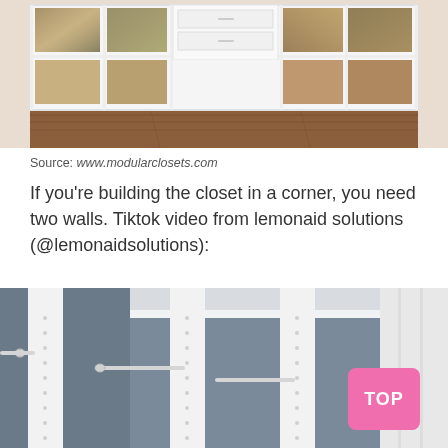[Figure (photo): White modular closet shelving unit with multiple open compartments arranged in a grid, some compartments showing decorative art panels with brown/gold abstract textures, central section has drawers, set against a wooden floor background.]
Source: www.modularclosets.com
If you're building the closet in a corner, you need two walls. Tiktok video from lemonaid solutions (@lemonaidsolutions):
[Figure (photo): Interior view of a corner walk-in closet showing white modular shelving panels with pre-drilled holes, metal hanging rods, and a dark grey/blue wall background. Pink 'TOP' button visible in bottom-right corner.]